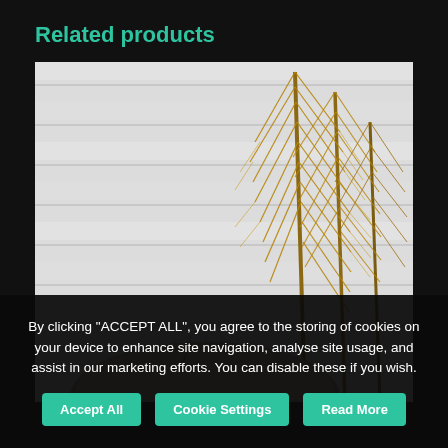Related products
[Figure (photo): A product photo showing golden dried pampas grass/palm fronds against a white slatted background, with a fluffy grey textured cushion or fur object in the lower left corner.]
By clicking “ACCEPT ALL”, you agree to the storing of cookies on your device to enhance site navigation, analyse site usage, and assist in our marketing efforts. You can disable these if you wish.
Accept All
Cookie Settings
Read More